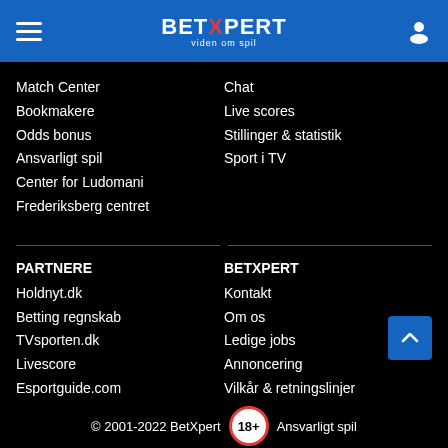BETXPERT viden om spil
Match Center
Bookmakere
Odds bonus
Ansvarligt spil
Center for Ludomani
Frederiksberg centret
Chat
Live scores
Stillinger & statistik
Sport i TV
PARTNERE
Holdnyt.dk
Betting regnskab
TVsporten.dk
Livescore
Esportguide.com
BETXPERT
Kontakt
Om os
Ledige jobs
Annoncering
Vilkår & retningslinjer
Privatlivspolitik
Cookiepolitik
© 2001-2022 BetXpert 18+ Ansvarligt spil